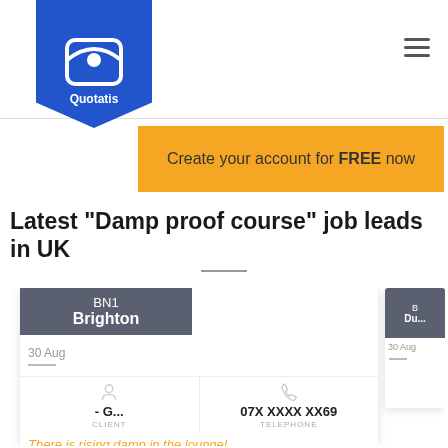Quotatis
Create your account for FREE now
Latest "Damp proof course" job leads in UK
BN1
Brighton
30 Aug
- G...
CLIENT
07X XXXX XX69
TELEPHONE
There is rising damp in the lounge!